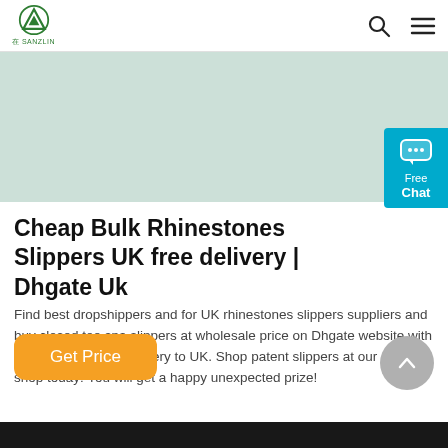DHgate UK logo, search icon, menu icon
[Figure (other): Light mint/green banner image area]
[Figure (infographic): Free Chat button with chat bubble icon in cyan/teal]
Cheap Bulk Rhinestones Slippers UK free delivery | Dhgate Uk
Find best dropshippers and for UK rhinestones slippers suppliers and buy closed toe spa slippers at wholesale price on Dhgate website with high quality & fast delivery to UK. Shop patent slippers at our online shop today! You will get a happy unexpected prize!
Get Price